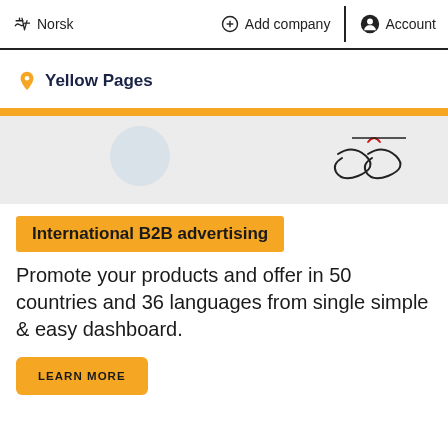Norsk   Add company   Account
Yellow Pages
[Figure (illustration): Yellow horizontal stripe divider with a partial circular graphic on left and a stylized handwriting/signature-like illustration on the right against a light background.]
International B2B advertising
Promote your products and offer in 50 countries and 36 languages from single simple & easy dashboard.
LEARN MORE